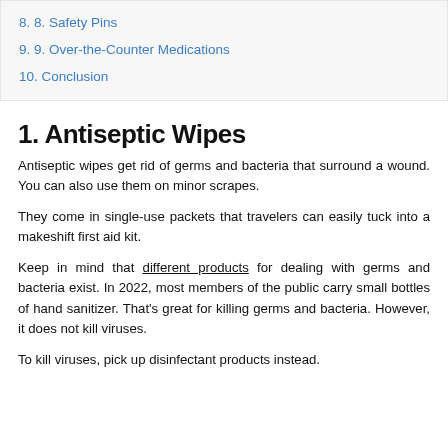8. 8. Safety Pins
9. 9. Over-the-Counter Medications
10. Conclusion
1. Antiseptic Wipes
Antiseptic wipes get rid of germs and bacteria that surround a wound. You can also use them on minor scrapes.
They come in single-use packets that travelers can easily tuck into a makeshift first aid kit.
Keep in mind that different products for dealing with germs and bacteria exist. In 2022, most members of the public carry small bottles of hand sanitizer. That’s great for killing germs and bacteria. However, it does not kill viruses.
To kill viruses, pick up disinfectant products instead.